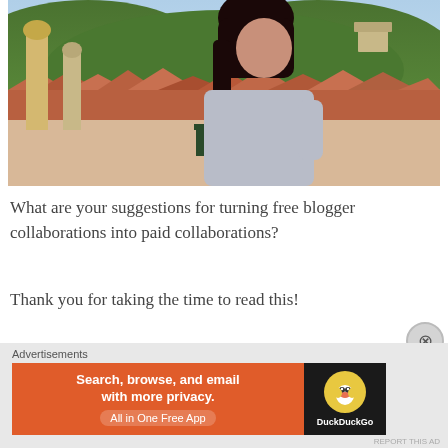[Figure (photo): A young woman with dark hair and a grey top looking back over her shoulder, standing in front of a European-style cityscape with red rooftops, church towers, green hills, and a light blue sky — likely Brasov, Romania.]
What are your suggestions for turning free blogger collaborations into paid collaborations?
Thank you for taking the time to read this!
Love,
Advertisements
[Figure (other): DuckDuckGo advertisement banner: orange left panel with text 'Search, browse, and email with more privacy. All in One Free App' and dark right panel with DuckDuckGo logo.]